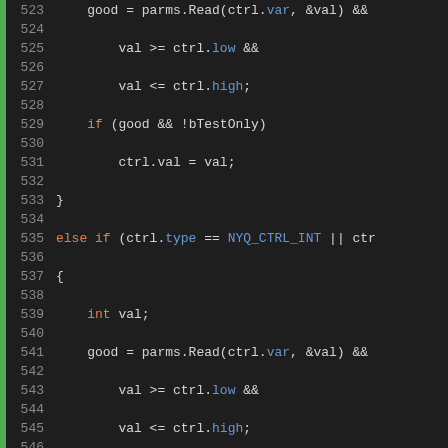[Figure (screenshot): Source code editor screenshot showing C++ code lines 523–557, syntax highlighted with dark background. Orange keywords (else, if, int, if), blue identifiers (NYQ_CTRL_INT, NYQ_CTRL_CHOICE, NYQ_CTRL_STRING, NYQ_CTRL_TEXT, low, high, choices, type, var), plain white/gray code text. Green vertical bar on left margin. Line numbers shown.]